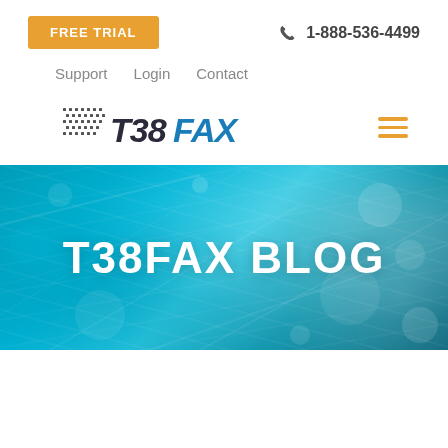[Figure (screenshot): Orange FREE TRIAL button in the top-left area of the website header]
1-888-536-4499
Support   Login   Contact
[Figure (logo): T38FAX logo with dot-matrix style graphic and blue/dark italic text]
[Figure (illustration): Orange hamburger menu icon (three horizontal lines)]
[Figure (photo): Blue fiber optic cables background image with T38FAX BLOG text overlay]
T38FAX BLOG